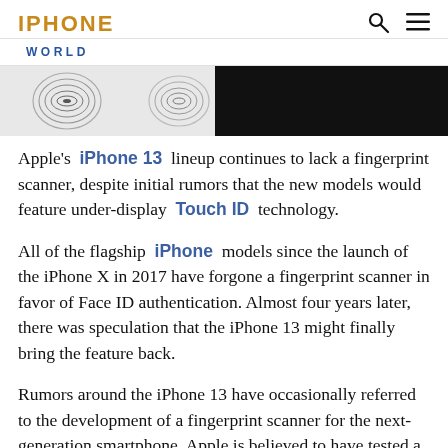IPHONE
WORLD
[Figure (photo): Fingerprint images on white background on the left, dark smartphone body on the right]
Apple's iPhone 13 lineup continues to lack a fingerprint scanner, despite initial rumors that the new models would feature under-display Touch ID technology.
All of the flagship iPhone models since the launch of the iPhone X in 2017 have forgone a fingerprint scanner in favor of Face ID authentication. Almost four years later, there was speculation that the iPhone 13 might finally bring the feature back.
Rumors around the iPhone 13 have occasionally referred to the development of a fingerprint scanner for the next-generation smartphone. Apple is believed to have tested a